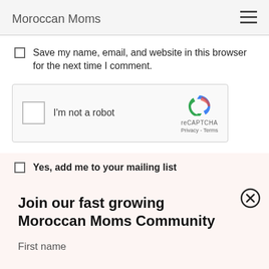Moroccan Moms
Save my name, email, and website in this browser for the next time I comment.
[Figure (screenshot): reCAPTCHA widget with checkbox labeled I'm not a robot and reCAPTCHA logo with Privacy - Terms links]
Yes, add me to your mailing list
Join our fast growing Moroccan Moms Community
First name